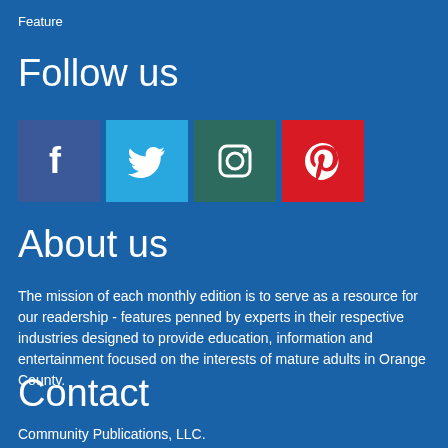Feature
Follow us
[Figure (illustration): Four social media icons: Facebook (dark blue), Twitter (light blue), Instagram (teal), Pinterest (red)]
About us
The mission of each monthly edition is to serve as a resource for our readership - features penned by experts in their respective industries designed to provide education, information and entertainment focused on the interests of mature adults in Orange County.
Contact
Community Publications, LLC.